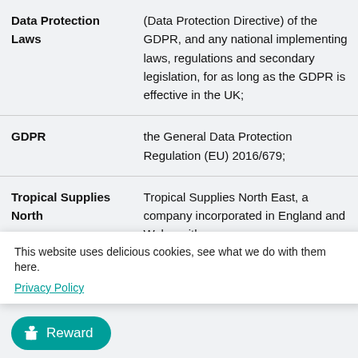| Term | Definition |
| --- | --- |
| Data Protection Laws | (Data Protection Directive) of the GDPR, and any national implementing laws, regulations and secondary legislation, for as long as the GDPR is effective in the UK; |
| GDPR | the General Data Protection Regulation (EU) 2016/679; |
| Tropical Supplies North | Tropical Supplies North East, a company incorporated in England and Wales with |
This website uses delicious cookies, see what we do with them here. Privacy Policy
Reward
the Privacy and Electronic